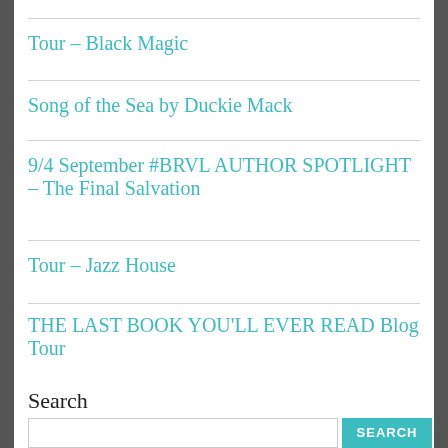Tour – Black Magic
Song of the Sea by Duckie Mack
9/4 September #BRVL AUTHOR SPOTLIGHT – The Final Salvation
Tour – Jazz House
THE LAST BOOK YOU'LL EVER READ Blog Tour
Search